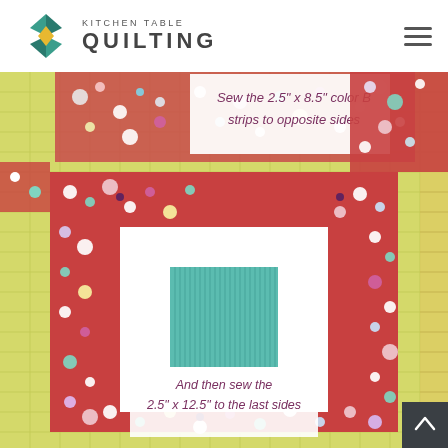Kitchen Table Quilting
[Figure (photo): Quilting tutorial photo showing fabric pieces on a cutting mat. Top inset shows a white label reading 'Sew the 2.5" x 8.5" color B strips to opposite sides'. Bottom shows a quilt block with floral fabric border and teal center square on a yellow cutting mat, with a white label reading 'And then sew the 2.5" x 12.5" to the last sides'.]